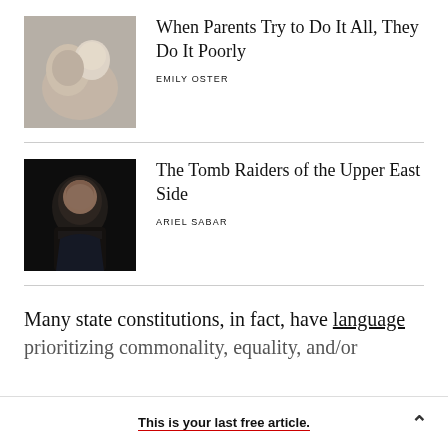[Figure (photo): Photo of parent and baby, parent kissing baby's head]
When Parents Try to Do It All, They Do It Poorly
EMILY OSTER
[Figure (photo): Portrait photo of older man in dark background]
The Tomb Raiders of the Upper East Side
ARIEL SABAR
Many state constitutions, in fact, have language prioritizing commonality, equality, and/or
This is your last free article.